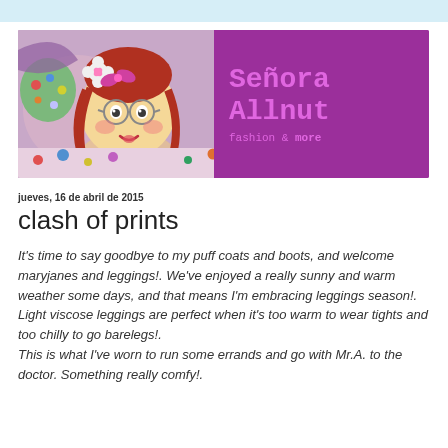[Figure (photo): Blog header banner for 'Señora Allnut fashion & more' featuring a handmade felt doll with red hair and glasses on a colorful patterned fabric background, with the blog title in pink/magenta text on a purple background]
jueves, 16 de abril de 2015
clash of prints
It's time to say goodbye to my puff coats and boots, and welcome maryjanes and leggings!. We've enjoyed a really sunny and warm weather some days, and that means I'm embracing leggings season!. Light viscose leggings are perfect when it's too warm to wear tights and too chilly to go barelegs!.
This is what I've worn to run some errands and go with Mr.A. to the doctor. Something really comfy!.